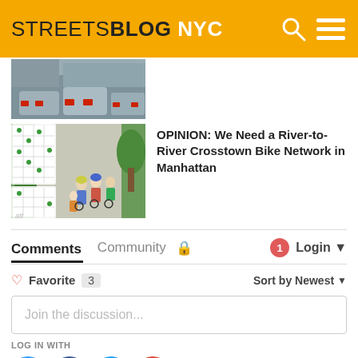STREETSBLOG NYC
[Figure (photo): Partial view of cars parked on a street, showing rear lights and bumpers]
[Figure (photo): People biking on a tree-lined path in Manhattan, with crosstown bike route maps overlaid on the left side]
OPINION: We Need a River-to-River Crosstown Bike Network in Manhattan
Comments	Community	🔒	1	Login
♡ Favorite 3	Sort by Newest
Join the discussion...
LOG IN WITH